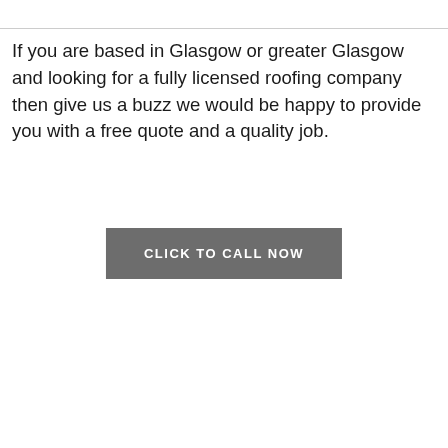If you are based in Glasgow or greater Glasgow and looking for a fully licensed roofing company then give us a buzz we would be happy to provide you with a free quote and a quality job.
CLICK TO CALL NOW